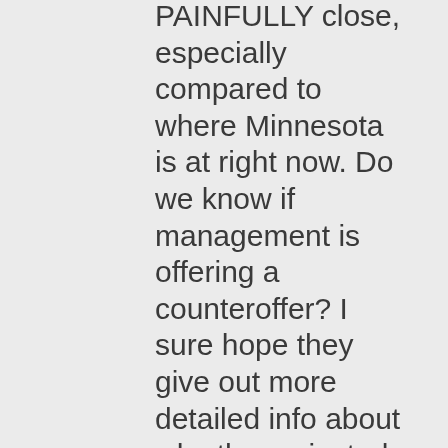PAINFULLY close, especially compared to where Minnesota is at right now. Do we know if management is offering a counteroffer? I sure hope they give out more detailed info about why they rejected this.
I don't know, I'm too upset now to think straight.
But if you fuck with my orchestras in a way that deteriorates their quality, you'll have hell to pay. Hell. To. Pay.